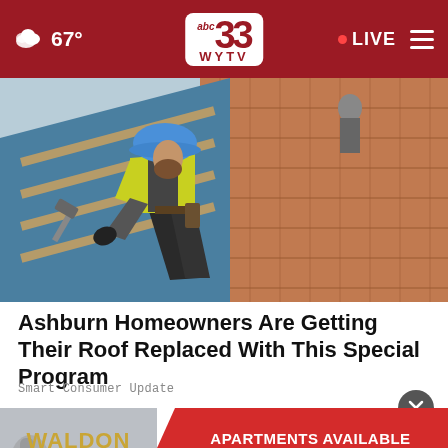abc 33 WYTV — 67° — LIVE
[Figure (photo): Roofer wearing a blue hard hat and yellow safety vest, crouching on a roof under construction, hammering tiles. Blue waterproof underlayment and terracotta/orange roof tiles visible.]
Ashburn Homeowners Are Getting Their Roof Replaced With This Special Program
Smart Consumer Update
[Figure (infographic): WALDON MANAGEMENT advertisement banner — gold text on left, red ribbon shape on right with white text: APARTMENTS AVAILABLE CONTACT US NOW!]